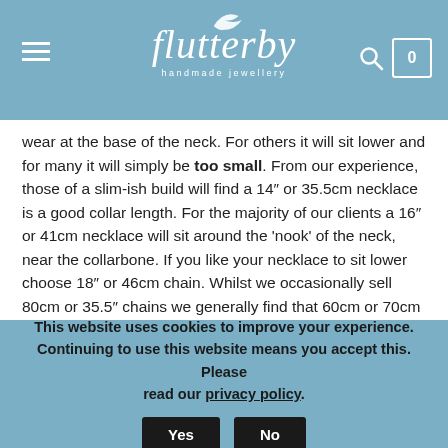Flutterby handmade jewellery — navigation header
wear at the base of the neck. For others it will sit lower and for many it will simply be too small. From our experience, those of a slim-ish build will find a 14″ or 35.5cm necklace is a good collar length. For the majority of our clients a 16″ or 41cm necklace will sit around the 'nook' of the neck, near the collarbone. If you like your necklace to sit lower choose 18″ or 46cm chain. Whilst we occasionally sell 80cm or 35.5″ chains we generally find that 60cm or 70cm chains give our clients the length they like for a longer piece. Given this huge variety, you can see why we are such fans of our adjustable
This website uses cookies to improve your experience. Continuing to use this website means you accept this. Please read our privacy policy.